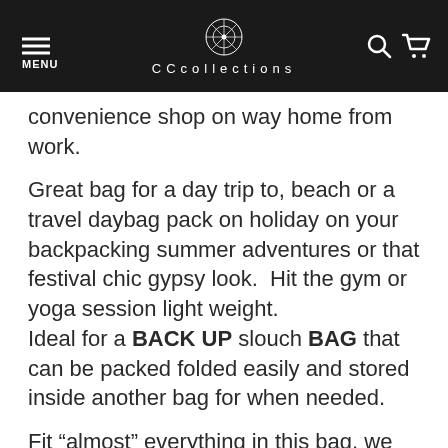MENU | CCcollections
convenience shop on way home from work.
Great bag for a day trip to, beach or a travel daybag pack on holiday on your backpacking summer adventures or that festival chic gypsy look.  Hit the gym or yoga session light weight.
Ideal for a BACK UP slouch BAG that can be packed folded easily and stored inside another bag for when needed.
Fit “almost” everything in this bag, we have had customers tell us they carry their bike helmets, diapers, school books, and even big enough to transport their cat to the Vet! :) We don’t recommend this but it is a roomy handy hobo shoulderbag!